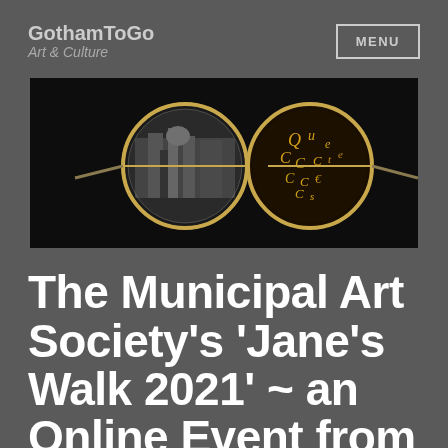GothamToGo Art & Culture
[Figure (photo): Close-up photograph of vintage round eyeglasses on a black background. The left lens reflects a black-and-white cityscape image, and the right lens contains golden decorative lettering or symbols.]
The Municipal Art Society's 'Jane's Walk 2021' ~ an Online Event from